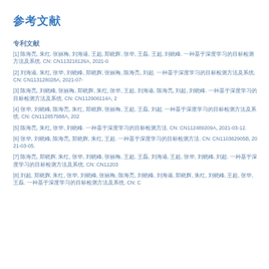参考文献
专利文献
[1] 陈海亮, 朱红, 张丽梅, 刘海港, 王超, 郑晓辉, 张华, 王磊, 王超, 刘晓峰. 一种基于深度学习的目标检测方法及系统. CN: CN113216126A, 2021-0
[2] 刘海港, 朱红, 张华, 刘晓峰, 郑晓辉, 张丽梅, 陈海亮, 刘超. 一种基于深度学习的目标检测方法及系统. CN: CN113128028A, 2021-07-
[3] 陈海亮, 刘晓峰, 张丽梅, 郑晓辉, 朱红, 张华, 王超, 刘海港, 陈海亮, 刘超, 刘晓峰. 一种基于深度学习的目标检测方法及系统. CN: CN112906114A, 2
[4] 张华, 刘晓峰, 陈海亮, 朱红, 郑晓辉, 张丽梅, 王超, 王磊, 刘超. 一种基于深度学习的目标检测方法及系统. CN: CN112857988A, 202
[5] 陈海亮, 朱红, 张华, 刘晓峰. 一种基于深度学习的目标检测方法. CN: CN112489209A, 2021-03-12.
[6] 张华, 刘晓峰, 陈海亮, 郑晓辉, 朱红, 王超. 一种基于深度学习的目标检测方法. CN: CN110362905B, 2021-03-05.
[7] 陈海亮, 郑晓辉, 朱红, 张华, 刘晓峰, 张丽梅, 王超, 王磊, 刘海港, 王超, 张华, 刘晓峰, 刘超. 一种基于深度学习的目标检测方法及系统. CN: CN11203
[8] 刘超, 郑晓辉, 朱红, 张华, 刘晓峰, 张丽梅, 陈海亮, 刘晓峰, 刘海港, 郑晓辉, 朱红, 刘晓峰, 王超, 张华, 王磊. 一种基于深度学习的目标检测方法及系统. CN: C